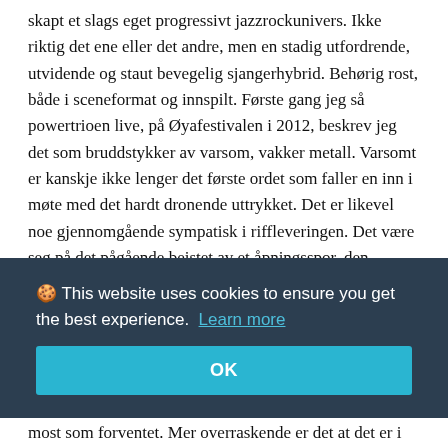skapt et slags eget progressivt jazzrockunivers. Ikke riktig det ene eller det andre, men en stadig utfordrende, utvidende og staut bevegelig sjangerhybrid. Behørig rost, både i sceneformat og innspilt. Første gang jeg så powertrioen live, på Øyafestivalen i 2012, beskrev jeg det som bruddstykker av varsom, vakker metall. Varsomt er kanskje ikke lenger det første ordet som faller en inn i møte med det hardt dronende uttrykket. Det er likevel noe gjennomgående sympatisk i riffleveringen. Det være seg på det pågående beistet av et åpningsspor, den tilsvarende metallisk voldsomme avslutningen "Lucidness" og ikke minst i den langt sløyere, landeveissmektende "Jurasek" - tredje spor ut av de totalt seks som fyller albumet. Det kan være lett å la seg henføre av
🍪 This website uses cookies to ensure you get the best experience. Learn more
OK
most som forventet. Mer overraskende er det at det er i de mer